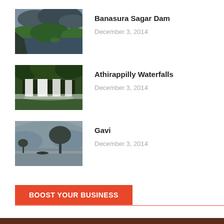[Figure (photo): Thumbnail photo of Banasura Sagar Dam – a scenic reservoir with lush green hills and dark water]
Banasura Sagar Dam
December 3, 2014
[Figure (photo): Thumbnail photo of Athirappilly Waterfalls – wide waterfall cascading through dense forest]
Athirappilly Waterfalls
December 3, 2014
[Figure (photo): Thumbnail photo of Gavi – misty lake with a lone boat and large tree silhouette]
Gavi
December 3, 2014
BOOST YOUR BUSINESS